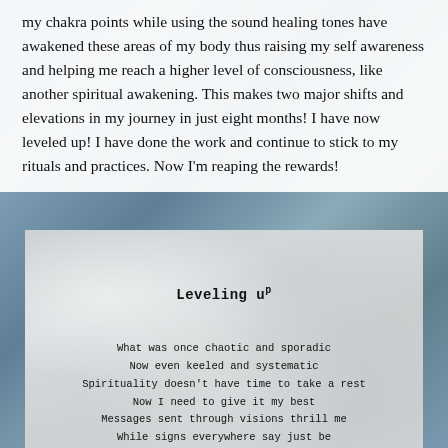my chakra points while using the sound healing tones have awakened these areas of my body thus raising my self awareness and helping me reach a higher level of consciousness, like another spiritual awakening. This makes two major shifts and elevations in my journey in just eight months! I have now leveled up! I have done the work and continue to stick to my rituals and practices. Now I'm reaping the rewards!
[Figure (illustration): A crumpled paper background with a poem titled 'Leveling up' in typewriter font. The poem reads: 'What was once chaotic and sporadic / Now even keeled and systematic / Spirituality doesn't have time to take a rest / Now I need to give it my best / Messages sent through visions thrill me / While signs everywhere say just be']